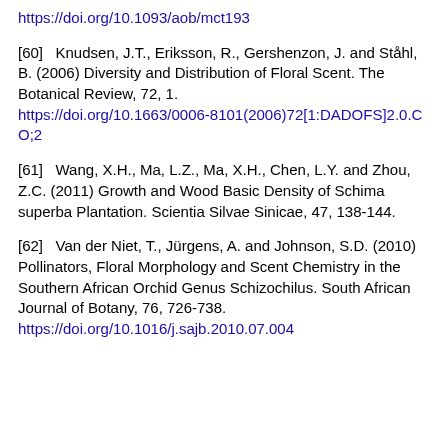https://doi.org/10.1093/aob/mct193
[60]   Knudsen, J.T., Eriksson, R., Gershenzon, J. and Ståhl, B. (2006) Diversity and Distribution of Floral Scent. The Botanical Review, 72, 1. https://doi.org/10.1663/0006-8101(2006)72[1:DADOFS]2.0.CO;2
[61]   Wang, X.H., Ma, L.Z., Ma, X.H., Chen, L.Y. and Zhou, Z.C. (2011) Growth and Wood Basic Density of Schima superba Plantation. Scientia Silvae Sinicae, 47, 138-144.
[62]   Van der Niet, T., Jürgens, A. and Johnson, S.D. (2010) Pollinators, Floral Morphology and Scent Chemistry in the Southern African Orchid Genus Schizochilus. South African Journal of Botany, 76, 726-738. https://doi.org/10.1016/j.sajb.2010.07.004